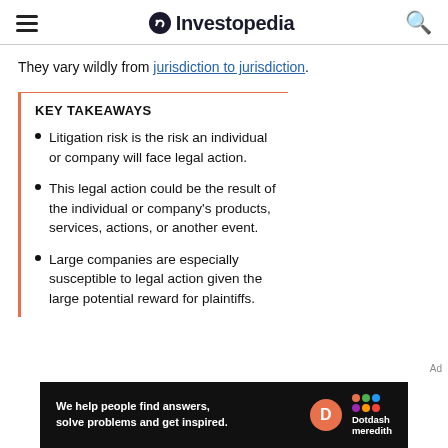Investopedia
They vary wildly from jurisdiction to jurisdiction.
KEY TAKEAWAYS
Litigation risk is the risk an individual or company will face legal action.
This legal action could be the result of the individual or company's products, services, actions, or another event.
Large companies are especially susceptible to legal action given the large potential reward for plaintiffs.
[Figure (other): Dotdash Meredith advertisement banner with text 'We help people find answers, solve problems and get inspired.']